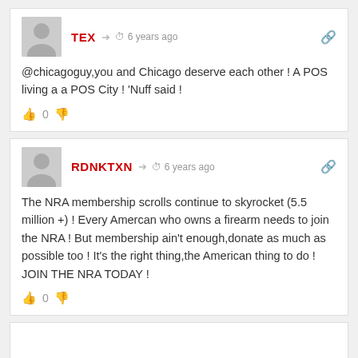TEX · 6 years ago
@chicagoguy,you and Chicago deserve each other ! A POS living a a POS City ! ‘Nuff said !
0
RDNKTXN · 6 years ago
The NRA membership scrolls continue to skyrocket (5.5 million +) ! Every Amercan who owns a firearm needs to join the NRA ! But membership ain't enough,donate as much as possible too ! It's the right thing,the American thing to do ! JOIN THE NRA TODAY !
0